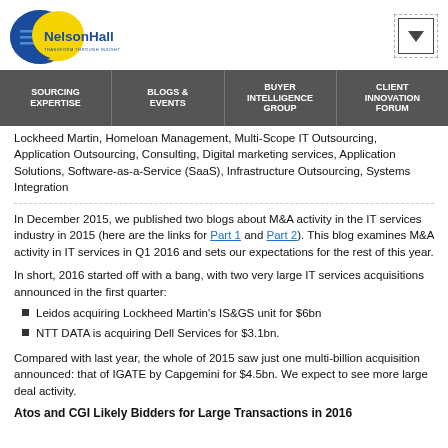[Figure (logo): NelsonHall logo with blue and yellow circular design and 'TRANSFORM THROUGH INSIGHT' tagline]
SOURCING EXPERTISE | BLOGS & EVENTS | BUYER INTELLIGENCE GROUP | CLIENT INNOVATION FORUM
Lockheed Martin, Homeloan Management, Multi-Scope IT Outsourcing, Application Outsourcing, Consulting, Digital marketing services, Application Solutions, Software-as-a-Service (SaaS), Infrastructure Outsourcing, Systems Integration
In December 2015, we published two blogs about M&A activity in the IT services industry in 2015 (here are the links for Part 1 and Part 2). This blog examines M&A activity in IT services in Q1 2016 and sets our expectations for the rest of this year.
In short, 2016 started off with a bang, with two very large IT services acquisitions announced in the first quarter:
Leidos acquiring Lockheed Martin's IS&GS unit for $6bn
NTT DATA is acquiring Dell Services for $3.1bn.
Compared with last year, the whole of 2015 saw just one multi-billion acquisition announced: that of IGATE by Capgemini for $4.5bn. We expect to see more large deal activity.
Atos and CGI Likely Bidders for Large Transactions in 2016